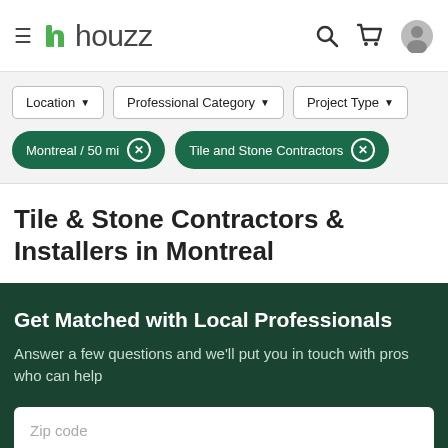houzz
Location ▼   Professional Category ▼   Project Type ▼
Montreal / 50 mi ✕   Tile and Stone Contractors ✕
Tile & Stone Contractors & Installers in Montreal
Get Matched with Local Professionals
Answer a few questions and we'll put you in touch with pros who can help
Zip code